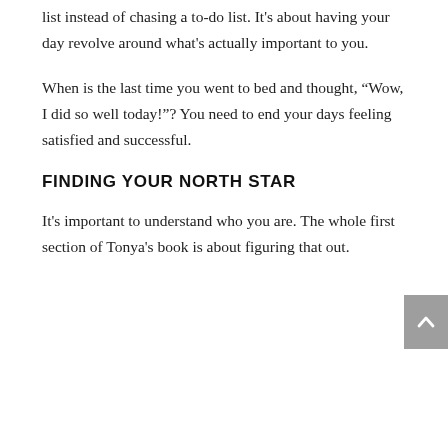list instead of chasing a to-do list. It's about having your day revolve around what's actually important to you.
When is the last time you went to bed and thought, “Wow, I did so well today!”? You need to end your days feeling satisfied and successful.
FINDING YOUR NORTH STAR
It's important to understand who you are. The whole first section of Tonya's book is about figuring that out.